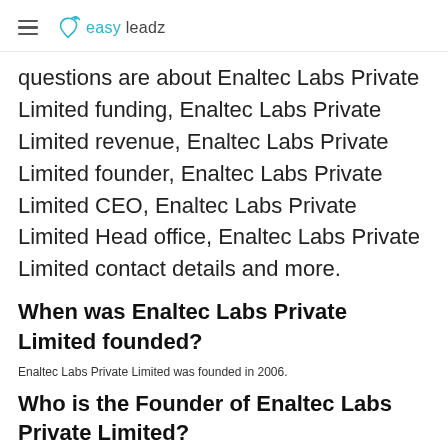easy leadz
questions are about Enaltec Labs Private Limited funding, Enaltec Labs Private Limited revenue, Enaltec Labs Private Limited founder, Enaltec Labs Private Limited CEO, Enaltec Labs Private Limited Head office, Enaltec Labs Private Limited contact details and more.
When was Enaltec Labs Private Limited founded?
Enaltec Labs Private Limited was founded in 2006.
Who is the Founder of Enaltec Labs Private Limited?
Susheel Kou is the founder of Enaltec Labs Private Limited